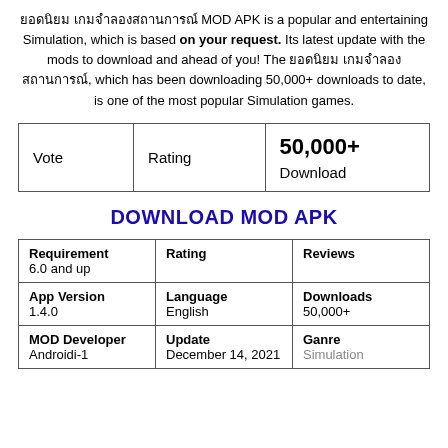ยอดนิยม เกมจำลองสถานการณ์ MOD APK is a popular and entertaining Simulation, which is based on your request. Its latest update with the mods to download and ahead of you! The ยอดนิยม เกมจำลองสถานการณ์, which has been downloading 50,000+ downloads to date, is one of the most popular Simulation games.
| Vote | Rating | 50,000+ Download |
| --- | --- | --- |
DOWNLOAD MOD APK
| Requirement | Rating | Reviews |
| --- | --- | --- |
| App Version
1.4.0 | Language
English | Downloads
50,000+ |
| MOD Developer
Androidi-1 | Update
December 14, 2021 | Ganre
Simulation |